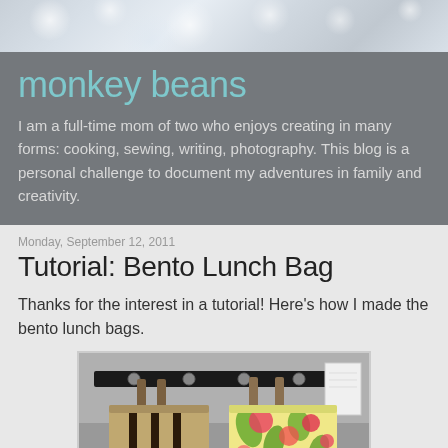[Figure (photo): Top banner bokeh/blurred light background photo strip]
monkey beans
I am a full-time mom of two who enjoys creating in many forms: cooking, sewing, writing, photography. This blog is a personal challenge to document my adventures in family and creativity.
Monday, September 12, 2011
Tutorial: Bento Lunch Bag
Thanks for the interest in a tutorial! Here’s how I made the bento lunch bags.
[Figure (photo): Photo of two handmade bento lunch bags hanging on hooks — one brown striped bag and one colorful floral-patterned bag]